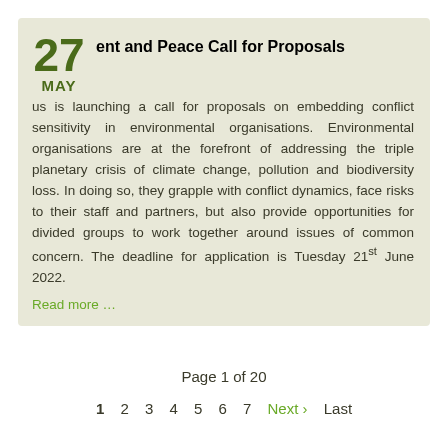Environment and Peace Call for Proposals
...us is launching a call for proposals on embedding conflict sensitivity in environmental organisations. Environmental organisations are at the forefront of addressing the triple planetary crisis of climate change, pollution and biodiversity loss. In doing so, they grapple with conflict dynamics, face risks to their staff and partners, but also provide opportunities for divided groups to work together around issues of common concern. The deadline for application is Tuesday 21st June 2022.
Read more …
Page 1 of 20
1 2 3 4 5 6 7 Next › Last